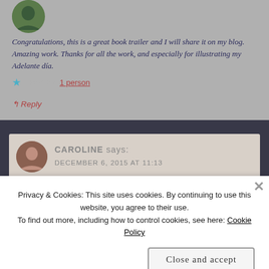Congratulations, this is a great book trailer and I will share it on my blog. Amazing work. Thanks for all the work, and especially for illustrating my Adelante día.
★ 1 person
↰ Reply
CAROLINE says: DECEMBER 6, 2015 AT 11:13
Privacy & Cookies: This site uses cookies. By continuing to use this website, you agree to their use. To find out more, including how to control cookies, see here: Cookie Policy
Close and accept